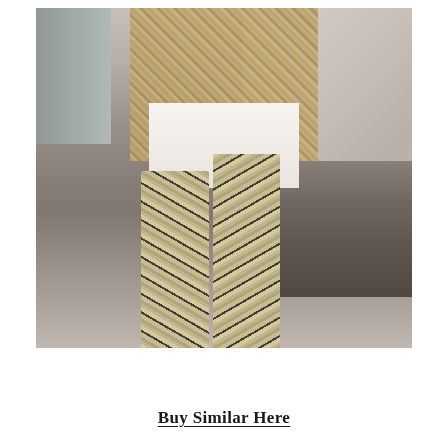[Figure (photo): A fashion photo of a woman wearing a plaid/tweed oversized blazer over a white mini dress, with over-the-knee snake-print high-heeled boots. She is walking on a city sidewalk with stone building steps on the right. A black fanny pack is belted at her waist.]
Buy Similar Here